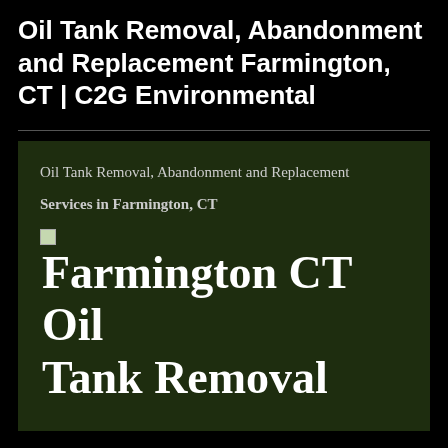Oil Tank Removal, Abandonment and Replacement Farmington, CT | C2G Environmental
Oil Tank Removal, Abandonment and Replacement
Services in Farmington, CT
[Figure (illustration): Small broken image icon followed by large white bold text reading 'Farmington CT Oil Tank Removal' on a dark green background]
Farmington CT Oil Tank Removal